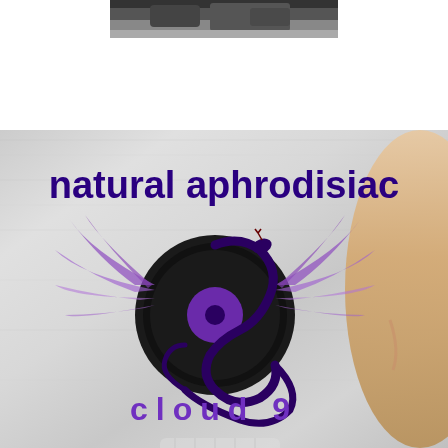[Figure (photo): Partial dark photo at top of page showing what appears to be a dark object or animal, cropped at bottom of frame]
[Figure (logo): Cloud 9 natural aphrodisiac product advertisement on brushed metallic silver background. Large dark purple text reads 'natural aphrodisiac' at top. Center features an ornate logo of a winged snake coiled around a vinyl record disc with the number 9, in purple and black tones. Below the logo, stylized text reads 'Cloud 9' in purple with spaced letters. Bottom shows partial view of a person's face (nose and lips). Right edge shows a partial close-up of a person's face.]